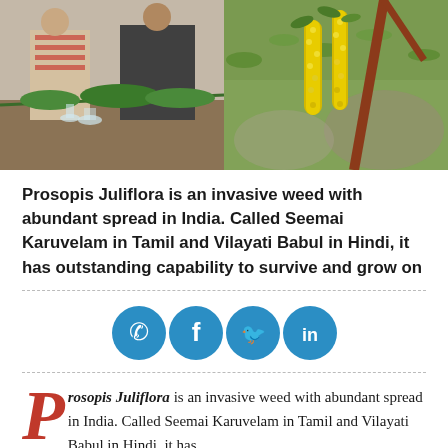[Figure (photo): Two men standing behind a table with plant specimens (Prosopis Juliflora branches) and laboratory glassware.]
[Figure (photo): Close-up of yellow flowering spikes of Prosopis Juliflora plant with green leaves against a blurred background.]
Prosopis Juliflora is an invasive weed with abundant spread in India. Called Seemai Karuvelam in Tamil and Vilayati Babul in Hindi, it has outstanding capability to survive and grow on
[Figure (infographic): Social sharing icons: WhatsApp, Facebook, Twitter, LinkedIn — four circular blue buttons in a row.]
Prosopis Juliflora is an invasive weed with abundant spread in India. Called Seemai Karuvelam in Tamil and Vilayati Babul in Hindi, it has